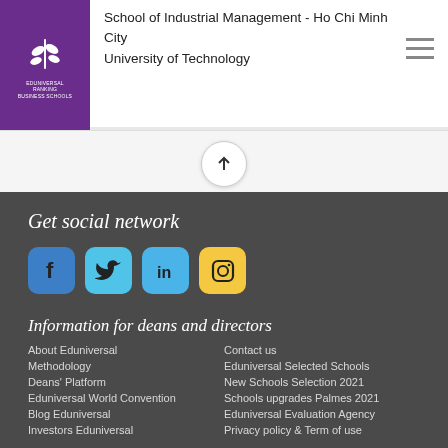School of Industrial Management - Ho Chi Minh City University of Technology
[Figure (logo): Eduniversal Ranking of Business Schools logo with purple background and wheat/leaf icon]
Get social network
[Figure (infographic): Social media icons: Facebook (blue), Twitter (light blue), LinkedIn (light blue), Instagram (yellow)]
Information for deans and directors
About Eduniversal
Methodology
Deans' Platform
Eduniversal World Convention
Blog Eduniversal
Investors Eduniversal
Contact us
Eduniversal Selected Schools
New Schools Selection 2021
Schools upgrades Palmes 2021
Eduniversal Evaluation Agency
Privacy policy & Term of use